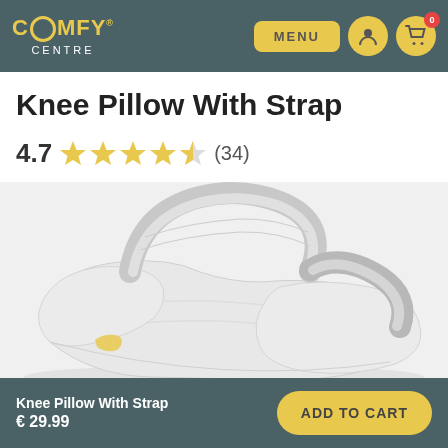Comfy Centre — MENU | user icon | cart 0
Knee Pillow With Strap
4.7 ★★★★½ (34)
[Figure (photo): White knee pillow with strap, shown from a three-quarter angle. The pillow has a contoured shape with a fabric strap across the top. A small yellow logo patch is visible on the side.]
Knee Pillow With Strap € 29.99 | ADD TO CART